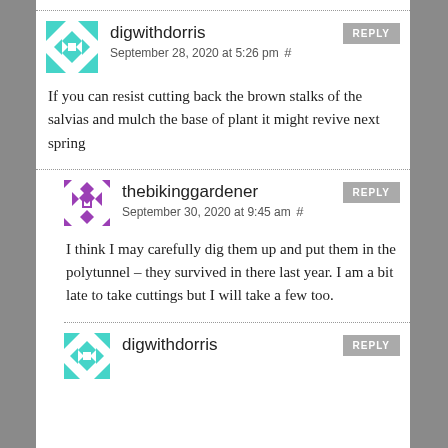[Figure (illustration): Teal geometric mosaic avatar for digwithdorris]
digwithdorris
September 28, 2020 at 5:26 pm #
If you can resist cutting back the brown stalks of the salvias and mulch the base of plant it might revive next spring
[Figure (illustration): Purple geometric mosaic avatar for thebikinggardener]
thebikinggardener
September 30, 2020 at 9:45 am #
I think I may carefully dig them up and put them in the polytunnel – they survived in there last year. I am a bit late to take cuttings but I will take a few too.
[Figure (illustration): Teal geometric mosaic avatar for digwithdorris (second instance)]
digwithdorris